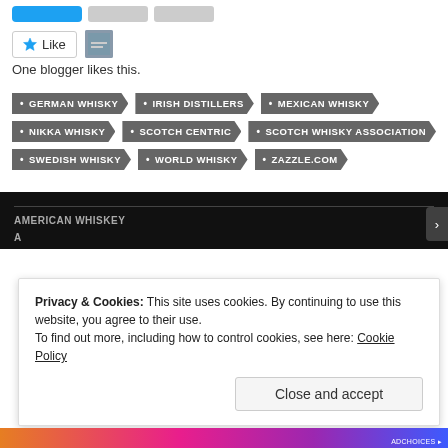[Figure (screenshot): Partial toolbar with blue button and two gray buttons at top of page]
[Figure (screenshot): Like button with star icon and small avatar thumbnail]
One blogger likes this.
GERMAN WHISKY
IRISH DISTILLERS
MEXICAN WHISKY
NIKKA WHISKY
SCOTCH CENTRIC
SCOTCH WHISKY ASSOCIATION
SWEDISH WHISKY
WORLD WHISKY
ZAZZLE.COM
AMERICAN WHISKEY
Privacy & Cookies: This site uses cookies. By continuing to use this website, you agree to their use.
To find out more, including how to control cookies, see here: Cookie Policy
Close and accept